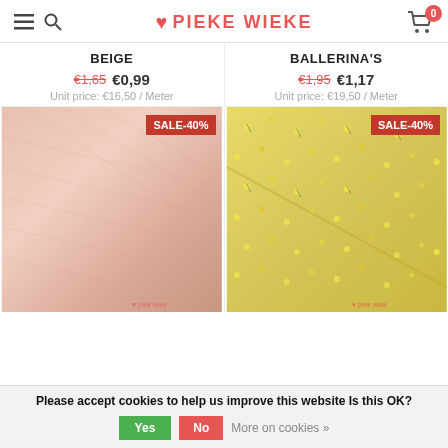Pieke Wieke — header with hamburger, search, logo, and cart (0 items)
BEIGE
€1,65  €0,99
Unit price: €16,50 / Meter
BALLERINA'S
€1,95  €1,17
Unit price: €19,50 / Meter
[Figure (photo): Pink/beige rolled fabric with SALE-40% badge]
[Figure (photo): Yellow floral fabric with SALE-40% badge]
Please accept cookies to help us improve this website Is this OK? Yes No More on cookies »